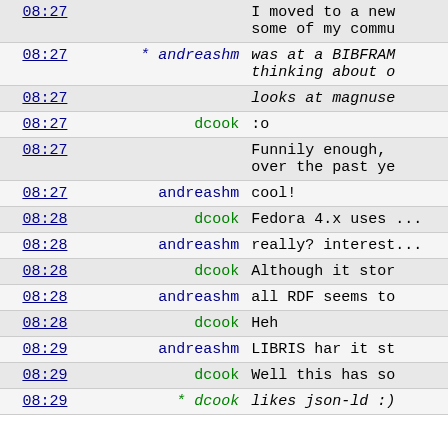| time | nick | message |
| --- | --- | --- |
| 08:27 |  | I moved to a new... some of my commu... |
| 08:27 | * andreashm | was at a BIBFRAM... thinking about o... |
| 08:27 |  | looks at magnuse... |
| 08:27 | dcook | :o |
| 08:27 |  | Funnily enough, ... over the past ye... |
| 08:27 | andreashm | cool! |
| 08:28 | dcook | Fedora 4.x uses ... |
| 08:28 | andreashm | really? interest... |
| 08:28 | dcook | Although it stor... |
| 08:28 | andreashm | all RDF seems to... |
| 08:28 | dcook | Heh |
| 08:29 | andreashm | LIBRIS har it st... |
| 08:29 | dcook | Well this has so... |
| 08:29 | * dcook | likes json-ld :)... |